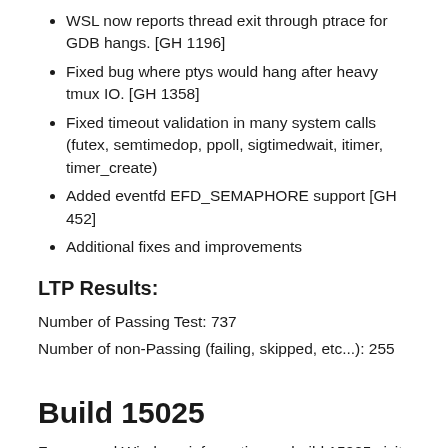WSL now reports thread exit through ptrace for GDB hangs. [GH 1196]
Fixed bug where ptys would hang after heavy tmux IO. [GH 1358]
Fixed timeout validation in many system calls (futex, semtimedop, ppoll, sigtimedwait, itimer, timer_create)
Added eventfd EFD_SEMAPHORE support [GH 452]
Additional fixes and improvements
LTP Results:
Number of Passing Test: 737
Number of non-Passing (failing, skipped, etc...): 255
Build 15025
For general Windows information on build 15025 visit the